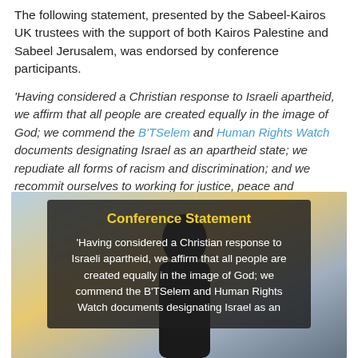The following statement, presented by the Sabeel-Kairos UK trustees with the support of both Kairos Palestine and Sabeel Jerusalem, was endorsed by conference participants.
'Having considered a Christian response to Israeli apartheid, we affirm that all people are created equally in the image of God; we commend the B'TSelem and Human Rights Watch documents designating Israel as an apartheid state; we repudiate all forms of racism and discrimination; and we recommit ourselves to working for justice, peace and reconciliation in Israel/Palestine.'
[Figure (photo): Photo of a person outdoors with sky background, overlaid with a dark semi-transparent box containing bold yellow title 'Conference Statement' and white italic body text quoting the conference statement about Christian response to Israeli apartheid.]